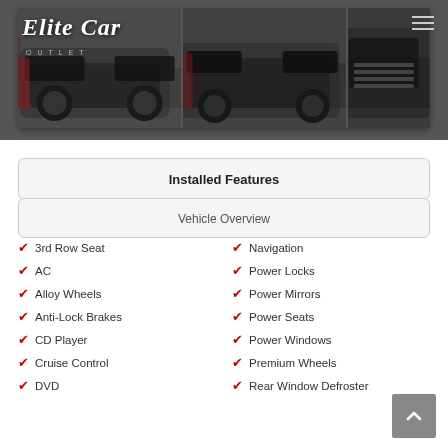[Figure (photo): Website header showing Elite Car Outlet logo over three photos of a black Cadillac Escalade SUV from different angles, with a hamburger menu icon in the top right.]
Installed Features
Vehicle Overview
3rd Row Seat
Navigation
AC
Power Locks
Alloy Wheels
Power Mirrors
Anti-Lock Brakes
Power Seats
CD Player
Power Windows
Cruise Control
Premium Wheels
DVD
Rear Window Defroster